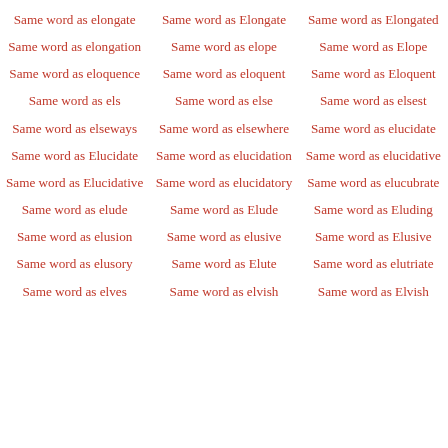Same word as elongate
Same word as Elongate
Same word as Elongated
Same word as elongation
Same word as elope
Same word as Elope
Same word as eloquence
Same word as eloquent
Same word as Eloquent
Same word as els
Same word as else
Same word as elsest
Same word as elseways
Same word as elsewhere
Same word as elucidate
Same word as Elucidate
Same word as elucidation
Same word as elucidative
Same word as Elucidative
Same word as elucidatory
Same word as elucubrate
Same word as elude
Same word as Elude
Same word as Eluding
Same word as elusion
Same word as elusive
Same word as Elusive
Same word as elusory
Same word as Elute
Same word as elutriate
Same word as elves
Same word as elvish
Same word as Elvish